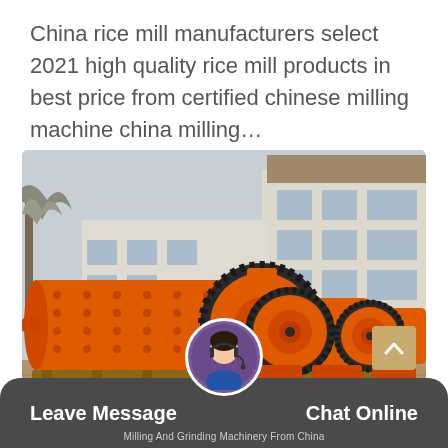China rice mill manufacturers select 2021 high quality rice mill products in best price from certified chinese milling machine china milling...
[Figure (photo): Large orange industrial ball mill machinery displayed outdoors in a yard, with multiple cylindrical drum units on wooden pallets. A bare tree and a multi-story factory building are visible in the background.]
Leave Message
Chat Online
Milling And Grinding Machinery From China